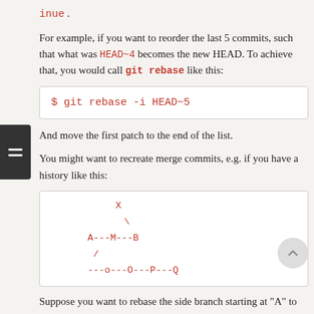inue .
For example, if you want to reorder the last 5 commits, such that what was HEAD~4 becomes the new HEAD. To achieve that, you would call git rebase like this:
And move the first patch to the end of the list.
You might want to recreate merge commits, e.g. if you have a history like this:
[Figure (other): ASCII diagram showing a git branch history: X at top, branching down to A---M---B, with a lower branch ---o---O---P---Q merging into A.]
Suppose you want to rebase the side branch starting at "A" to "Q". Make sure that the current HEAD is